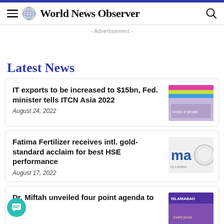World News Observer
- Advertisement -
Latest News
IT exports to be increased to $15bn, Fed. minister tells ITCN Asia 2022
August 24, 2022
[Figure (photo): Group photo at ITCN Asia 2022 event with people in suits in front of ITCN AS signage]
Fatima Fertilizer receives intl. gold-standard acclaim for best HSE performance
August 17, 2022
[Figure (photo): Fatima Fertilizer Company Limited logo with circular design]
Dr. Miftah unveiled four point agenda to put
[Figure (photo): Event photo with ISLAMABAD banner and people]